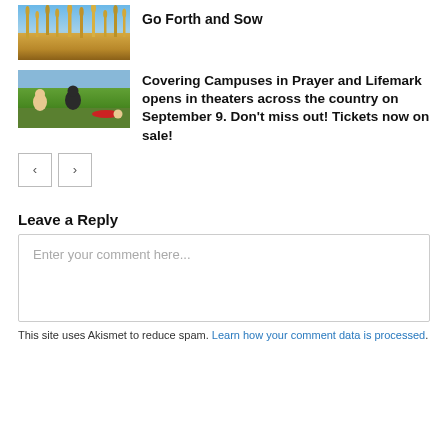[Figure (photo): Wheat field photo with blue sky, showing tall wheat stalks in warm golden light]
Go Forth and Sow
[Figure (photo): Group of young people sitting outdoors on grass, one lying down, in a casual setting]
Covering Campuses in Prayer and Lifemark opens in theaters across the country on September 9. Don't miss out! Tickets now on sale!
Leave a Reply
Enter your comment here...
This site uses Akismet to reduce spam. Learn how your comment data is processed.